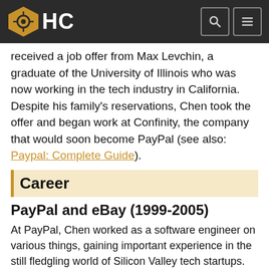HC
received a job offer from Max Levchin, a graduate of the University of Illinois who was now working in the tech industry in California. Despite his family's reservations, Chen took the offer and began work at Confinity, the company that would soon become PayPal (see also: Paypal: Complete Guide).
Career
PayPal and eBay (1999-2005)
At PayPal, Chen worked as a software engineer on various things, gaining important experience in the still fledgling world of Silicon Valley tech startups. More importantly, PayPal is where Chen started to make connections that...